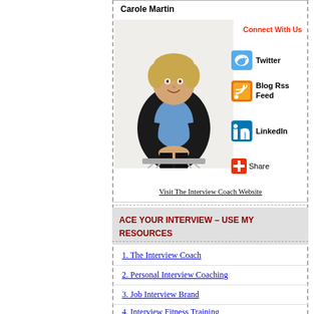Carole Martin
[Figure (photo): Woman sitting on a barstool, wearing a black blazer and blue top, smiling]
Connect With Us
Twitter
Blog Rss Feed
LinkedIn
Share
Visit The Interview Coach Website
ACE YOUR INTERVIEW – USE MY RESOURCES
1. The Interview Coach
2. Personal Interview Coaching
3. Job Interview Brand
4. Interview Fitness Training
5. Free Practice Interview